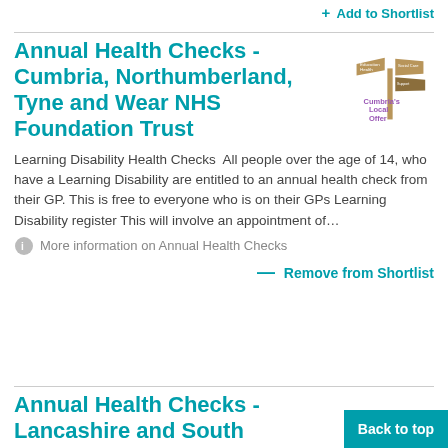+ Add to Shortlist
Annual Health Checks - Cumbria, Northumberland, Tyne and Wear NHS Foundation Trust
[Figure (logo): Cumbria's Local Offer logo with signpost graphic]
Learning Disability Health Checks  All people over the age of 14, who have a Learning Disability are entitled to an annual health check from their GP. This is free to everyone who is on their GPs Learning Disability register This will involve an appointment of…
More information on Annual Health Checks
− Remove from Shortlist
Annual Health Checks - Lancashire and South Cumbria NHS Foundation Trust
[Figure (logo): Cumbria's Local Offer logo with signpost graphic]
Learning Disability Health Checks  All people over t
Back to top